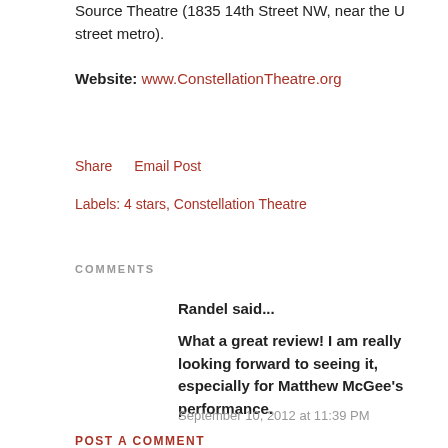Source Theatre (1835 14th Street NW, near the U street metro).
Website: www.ConstellationTheatre.org
Share    Email Post
Labels: 4 stars, Constellation Theatre
COMMENTS
Randel said...
What a great review! I am really looking forward to seeing it, especially for Matthew McGee's performance.
September 10, 2012 at 11:39 PM
POST A COMMENT